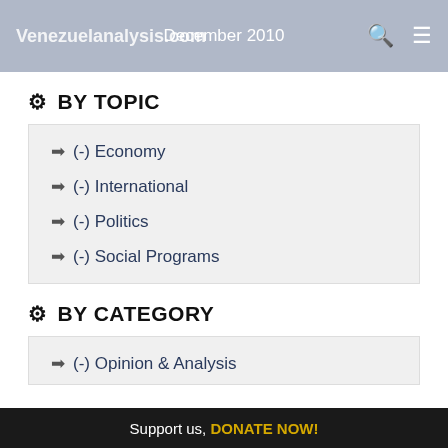Venezuelanalysis.com | December 2010
BY TOPIC
(-) Economy
(-) International
(-) Politics
(-) Social Programs
BY CATEGORY
(-) Opinion & Analysis
Support us, DONATE NOW!